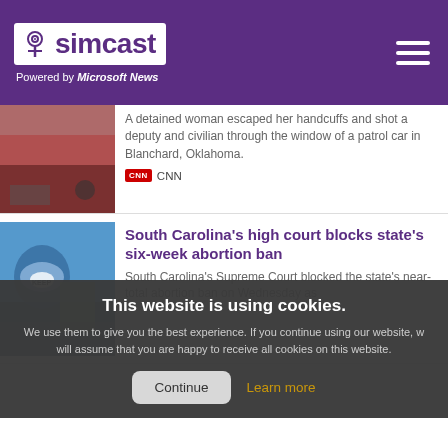simcast — Powered by Microsoft News
[Figure (screenshot): Partial news article image at top, partially cut off, showing a vehicle scene]
A detained woman escaped her handcuffs and shot a deputy and civilian through the window of a patrol car in Blanchard, Oklahoma.
CNN
[Figure (photo): Protest photo showing Keep Abortion Legal sign]
South Carolina's high court blocks state's six-week abortion ban
South Carolina's Supreme Court blocked the state's near-total abortion ban on Wednesday as
This website is using cookies. We use them to give you the best experience. If you continue using our website, we will assume that you are happy to receive all cookies on this website.
Continue
Learn more
[Figure (photo): Woman with light hair standing outdoors]
Donald Trump Jr. and more stars react to Liz Cheney's defeat in the Wyoming primary
Celebrities react to Congresswoman Liz Cheney's defeat in the Wyoming primary.